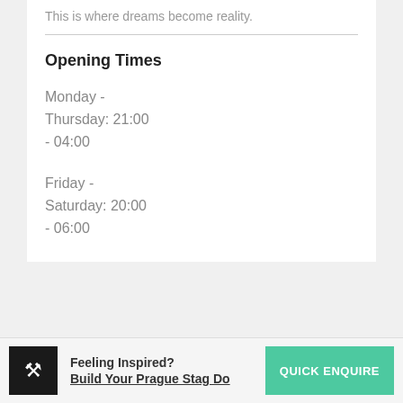This is where dreams become reality.
Opening Times
Monday - Thursday: 21:00 - 04:00
Friday - Saturday: 20:00 - 06:00
[Figure (screenshot): Map area with vertical line and location pin circle icon, and an up-arrow circle button on the right]
Feeling Inspired? Build Your Prague Stag Do
QUICK ENQUIRE